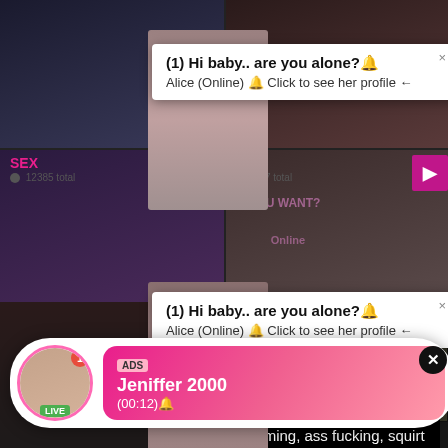[Figure (screenshot): Adult website screenshot with video thumbnails in a grid layout, popup notifications saying '(1) Hi baby.. are you alone?' from Alice (Online), an ad popup for adult content, and a live notification from Jeniffer 2000]
(1) Hi baby.. are you alone?🔔
Alice (Online) 🔔 Click to see her profile ←
(1) Hi baby.. are you alone?🔔
Alice (Online) 🔔 Click to see her profile ←
SEX
12385 total
287 total
COLL
673 total
1795 total
Cumming, ass fucking, squirt or...
• ADS
ADS
Jeniffer 2000
(00:12)🔔
LIVE